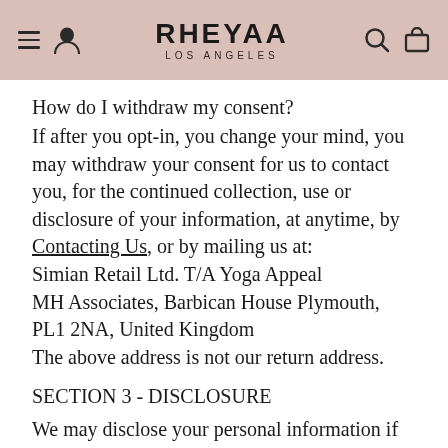RHEYAA LOS ANGELES
How do I withdraw my consent?
If after you opt-in, you change your mind, you may withdraw your consent for us to contact you, for the continued collection, use or disclosure of your information, at anytime, by Contacting Us, or by mailing us at:
Simian Retail Ltd. T/A Yoga Appeal
MH Associates, Barbican House Plymouth, PL1 2NA, United Kingdom
The above address is not our return address.
SECTION 3 - DISCLOSURE
We may disclose your personal information if we are required by law to do so or if you violate our